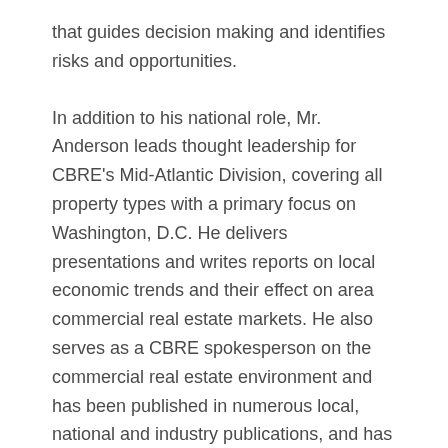that guides decision making and identifies risks and opportunities.
In addition to his national role, Mr. Anderson leads thought leadership for CBRE's Mid-Atlantic Division, covering all property types with a primary focus on Washington, D.C. He delivers presentations and writes reports on local economic trends and their effect on area commercial real estate markets. He also serves as a CBRE spokesperson on the commercial real estate environment and has been published in numerous local, national and industry publications, and has spoken at various conferences and events.